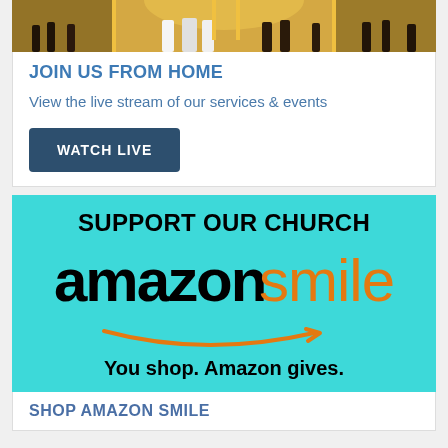[Figure (photo): Church interior photo showing a wedding ceremony with ornate golden iconostasis in background]
JOIN US FROM HOME
View the live stream of our services & events
WATCH LIVE
[Figure (infographic): AmazonSmile advertisement on teal background. Text reads: SUPPORT OUR CHURCH / amazonsmile / You shop. Amazon gives.]
SHOP AMAZON SMILE